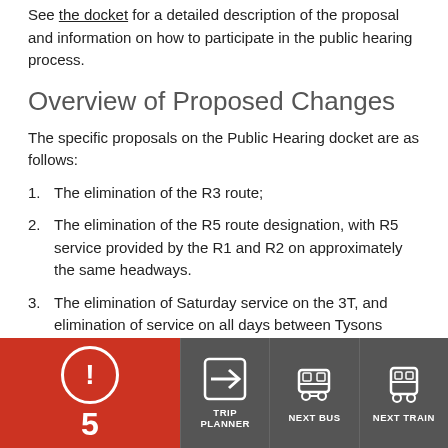See the docket for a detailed description of the proposal and information on how to participate in the public hearing process.
Overview of Proposed Changes
The specific proposals on the Public Hearing docket are as follows:
1. The elimination of the R3 route;
2. The elimination of the R5 route designation, with R5 service provided by the R1 and R2 on approximately the same headways.
3. The elimination of Saturday service on the 3T, and elimination of service on all days between Tysons Corner Shopping Center and Tysons Westpark, on the 3T.
4. Elimination of ... including ... DC trips ... NE, W2...
[Figure (infographic): Navigation toolbar overlay showing: alert badge (red background, exclamation icon, number 5), Trip Planner button (arrow icon), Next Bus button (bus icon), Next Train button (train icon)]